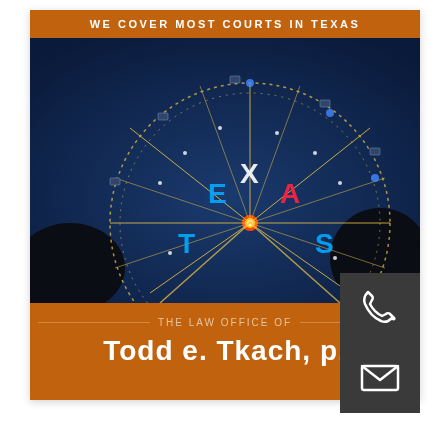WE COVER MOST COURTS IN TEXAS
[Figure (photo): Night photo of a large illuminated Ferris wheel with the word TEXAS spelled out on it in blue neon lights, against a dark blue sky with silhouetted trees]
THE LAW OFFICE OF Todd e. Tkach, p.
[Figure (illustration): White telephone handset icon on dark gray background]
[Figure (illustration): White envelope/mail icon on dark gray background]